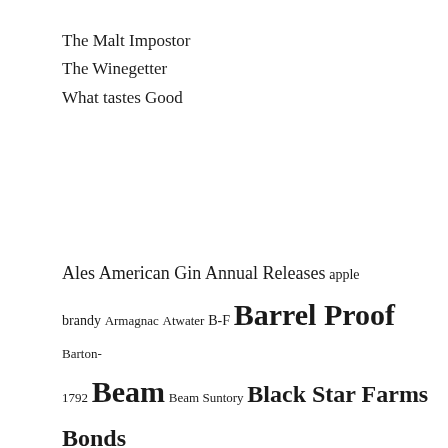The Malt Impostor
The Winegetter
What tastes Good
Ales American Gin Annual Releases apple brandy Armagnac Atwater B-F Barrel Proof Barton-1792 Beam Beam Suntory Black Star Farms Bonds Buffalo Trace Cabernet Franc California Calvados canadian Canadian Wine Chardonnay Chateau Grand Traverse Cognac Diageo Dry Riesling Dusties finished/infused whiskeys Flavored cider Founder's